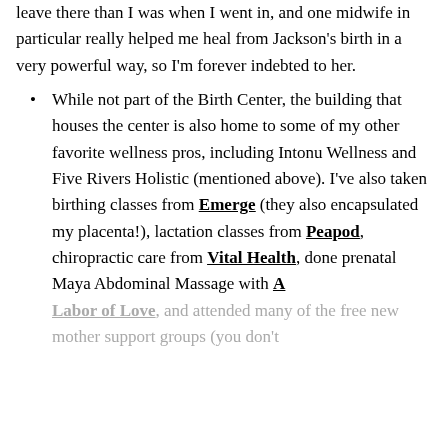leave there than I was when I went in, and one midwife in particular really helped me heal from Jackson's birth in a very powerful way, so I'm forever indebted to her.
While not part of the Birth Center, the building that houses the center is also home to some of my other favorite wellness pros, including Intonu Wellness and Five Rivers Holistic (mentioned above). I've also taken birthing classes from Emerge (they also encapsulated my placenta!), lactation classes from Peapod, chiropractic care from Vital Health, done prenatal Maya Abdominal Massage with A Labor of Love, and attended many of the free new mother support groups (you don't